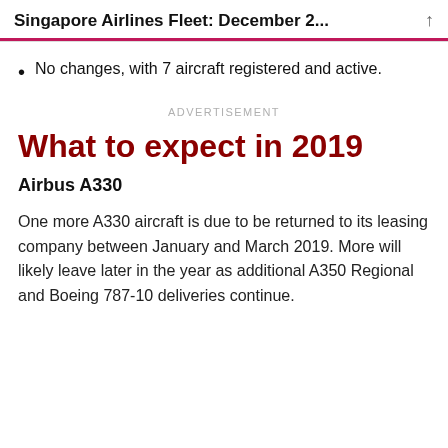Singapore Airlines Fleet: December 2...
No changes, with 7 aircraft registered and active.
ADVERTISEMENT
What to expect in 2019
Airbus A330
One more A330 aircraft is due to be returned to its leasing company between January and March 2019. More will likely leave later in the year as additional A350 Regional and Boeing 787-10 deliveries continue.